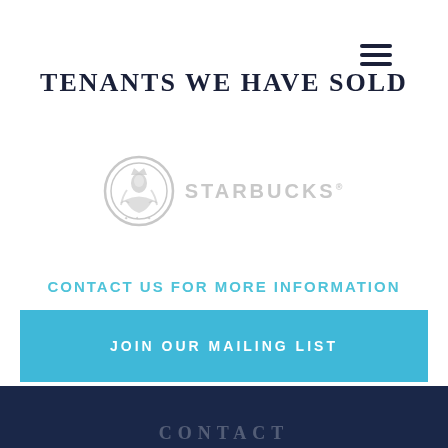[Figure (other): Hamburger menu icon (three horizontal lines) in dark navy, top-right corner]
TENANTS WE HAVE SOLD
[Figure (logo): Starbucks logo in light gray - circular siren emblem with STARBUCKS wordmark to the right, all in gray/light color]
CONTACT US FOR MORE INFORMATION
JOIN OUR MAILING LIST
CONTACT